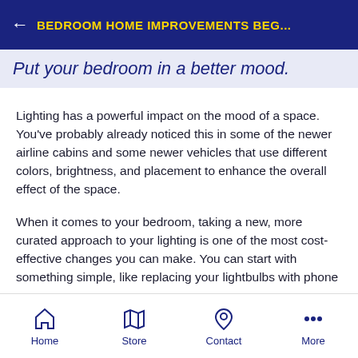BEDROOM HOME IMPROVEMENTS BEG...
Put your bedroom in a better mood.
Lighting has a powerful impact on the mood of a space. You've probably already noticed this in some of the newer airline cabins and some newer vehicles that use different colors, brightness, and placement to enhance the overall effect of the space.
When it comes to your bedroom, taking a new, more curated approach to your lighting is one of the most cost-effective changes you can make. You can start with something simple, like replacing your lightbulbs with phone
Home  Store  Contact  More